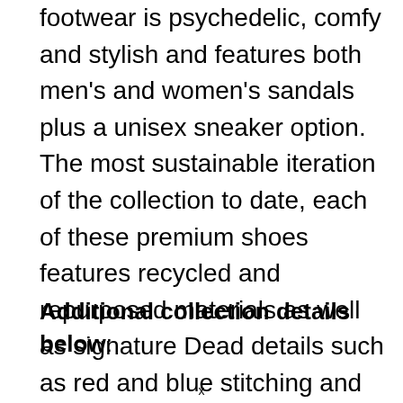footwear is psychedelic, comfy and stylish and features both men's and women's sandals plus a unisex sneaker option. The most sustainable iteration of the collection to date, each of these premium shoes features recycled and repurposed materials as well as signature Dead details such as red and blue stitching and tie-dye touches.
Additional collection details below:
x